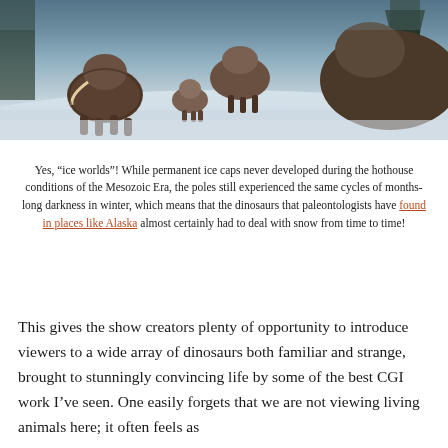[Figure (photo): Woolly mammoths or large hairy prehistoric animals walking through a snowy winter landscape with trees in the background. A smaller juvenile animal is visible among the group.]
Yes, “ice worlds”! While permanent ice caps never developed during the hothouse conditions of the Mesozoic Era, the poles still experienced the same cycles of months-long darkness in winter, which means that the dinosaurs that paleontologists have found in places like Alaska almost certainly had to deal with snow from time to time!
This gives the show creators plenty of opportunity to introduce viewers to a wide array of dinosaurs both familiar and strange, brought to stunningly convincing life by some of the best CGI work I’ve seen. One easily forgets that we are not viewing living animals here; it often feels as